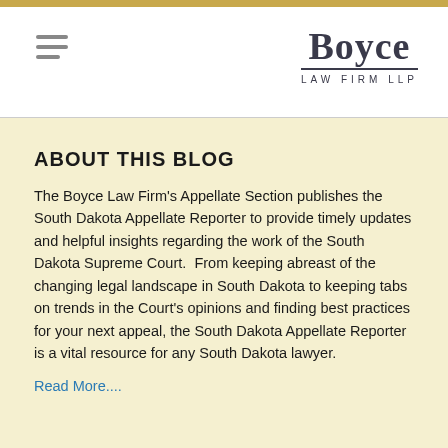[Figure (logo): Boyce Law Firm LLP logo with hamburger menu icon in header]
ABOUT THIS BLOG
The Boyce Law Firm's Appellate Section publishes the South Dakota Appellate Reporter to provide timely updates and helpful insights regarding the work of the South Dakota Supreme Court.  From keeping abreast of the changing legal landscape in South Dakota to keeping tabs on trends in the Court's opinions and finding best practices for your next appeal, the South Dakota Appellate Reporter is a vital resource for any South Dakota lawyer.
Read More....